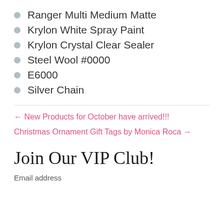Ranger Multi Medium Matte
Krylon White Spray Paint
Krylon Crystal Clear Sealer
Steel Wool #0000
E6000
Silver Chain
← New Products for October have arrived!!!
Christmas Ornament Gift Tags by Monica Roca →
Join Our VIP Club!
Email address